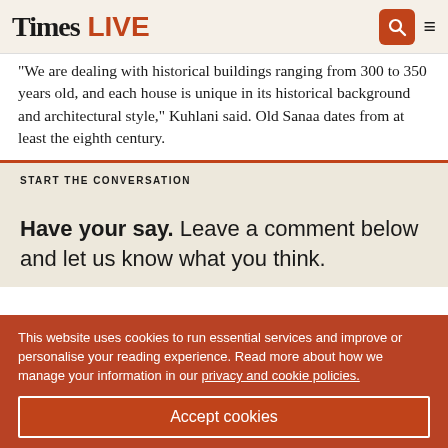Times LIVE
"We are dealing with historical buildings ranging from 300 to 350 years old, and each house is unique in its historical background and architectural style," Kuhlani said. Old Sanaa dates from at least the eighth century.
START THE CONVERSATION
Have your say. Leave a comment below and let us know what you think.
This website uses cookies to run essential services and improve or personalise your reading experience. Read more about how we manage your information in our privacy and cookie policies.
Accept cookies